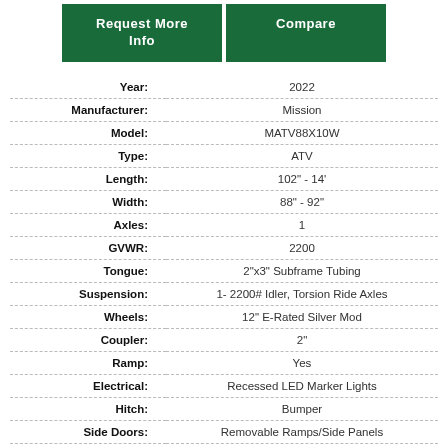[Figure (other): Two green buttons: 'Request More Info' and 'Compare']
| Attribute | Value |
| --- | --- |
| Year: | 2022 |
| Manufacturer: | Mission |
| Model: | MATV88X10W |
| Type: | ATV |
| Length: | 102" - 14' |
| Width: | 88" - 92" |
| Axles: | 1 |
| GVWR: | 2200 |
| Tongue: | 2"x3" Subframe Tubing |
| Suspension: | 1- 2200# Idler, Torsion Ride Axles |
| Wheels: | 12" E-Rated Silver Mod |
| Coupler: | 2" |
| Ramp: | Yes |
| Electrical: | Recessed LED Marker Lights |
| Hitch: | Bumper |
| Side Doors: | Removable Ramps/Side Panels |